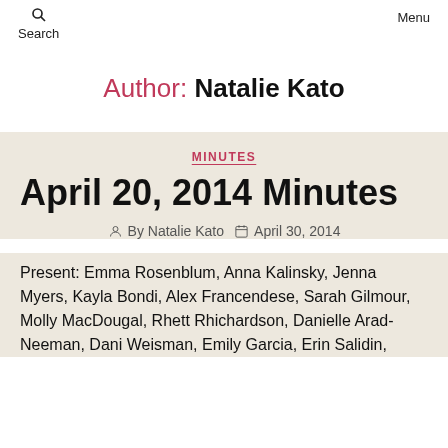Search   Self Government Association   Menu
Author: Natalie Kato
MINUTES
April 20, 2014 Minutes
By Natalie Kato   April 30, 2014
Present: Emma Rosenblum, Anna Kalinsky, Jenna Myers, Kayla Bondi, Alex Francendese, Sarah Gilmour, Molly MacDougal, Rhett Rhichardson, Danielle Arad-Neeman, Dani Weisman, Emily Garcia, Erin Salidin,